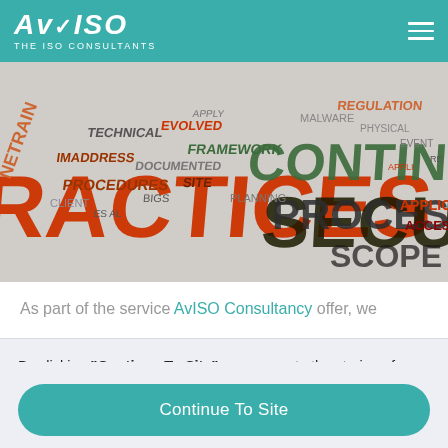AvISO THE ISO CONSULTANTS
[Figure (photo): Word cloud / typographic banner image featuring ISO-related terms: PRACTICES, PROCESS, CONTINUITY, SECURITY, SCOPE, FRAMEWORK, PROCEDURES, ADDRESS, CLIENT, DOCUMENTED, SITE, PLANNING, REGULATION, MALWARE, PHYSICAL, APPLICATIONS, ACCESS, etc. in red, dark green, dark red, and white on a grey background.]
As part of the service AvISO Consultancy offer, we
By clicking "Continue To Site", you agree to the storing of cookies on your device to enhance site navigation, analyse site usage, and assist in our marketing efforts. View our Privacy Policy   for more information.
Continue To Site